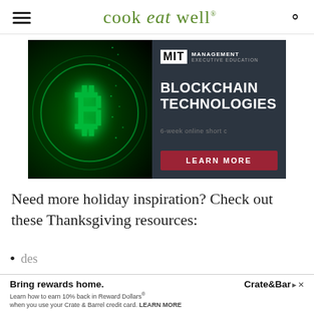cook eat well
[Figure (photo): MIT Management Executive Education advertisement for Blockchain Technologies course, featuring a glowing green Bitcoin symbol on the left and text on a dark panel on the right with a LEARN MORE button]
Need more holiday inspiration? Check out these Thanksgiving resources:
[Figure (screenshot): Crate & Barrel advertisement: Bring rewards home. Learn how to earn 10% back in Reward Dollars when you use your Crate & Barrel credit card. LEARN MORE]
des